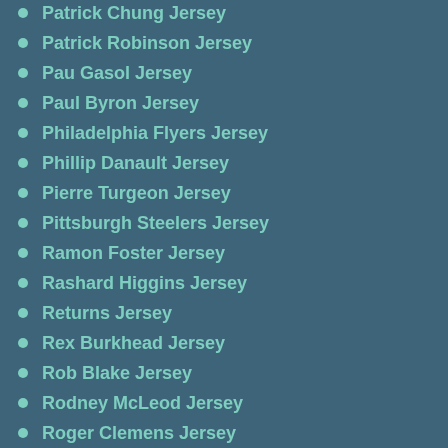Patrick Chung Jersey
Patrick Robinson Jersey
Pau Gasol Jersey
Paul Byron Jersey
Philadelphia Flyers Jersey
Phillip Danault Jersey
Pierre Turgeon Jersey
Pittsburgh Steelers Jersey
Ramon Foster Jersey
Rashard Higgins Jersey
Returns Jersey
Rex Burkhead Jersey
Rob Blake Jersey
Rodney McLeod Jersey
Roger Clemens Jersey
Ronald Jones II Jersey
Ronnie Lott Jersey